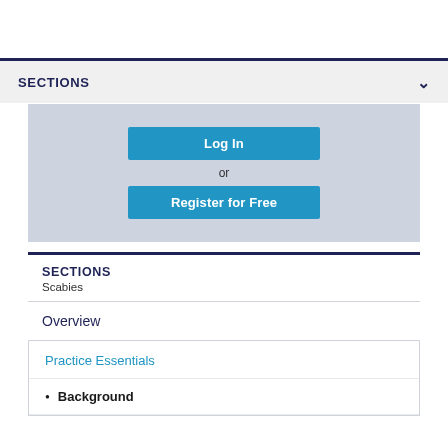SECTIONS ✓
[Figure (screenshot): Login/register panel with teal 'Log In' button, 'or' text, and teal 'Register for Free' button on a light blue-grey background]
SECTIONS
Scabies
Overview
Practice Essentials
Background